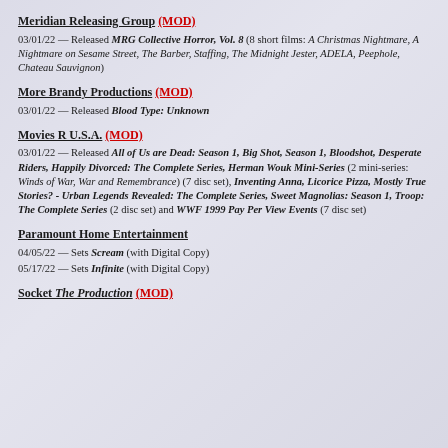Meridian Releasing Group (MOD)
03/01/22 — Released MRG Collective Horror, Vol. 8 (8 short films: A Christmas Nightmare, A Nightmare on Sesame Street, The Barber, Staffing, The Midnight Jester, ADELA, Peephole, Chateau Sauvignon)
More Brandy Productions (MOD)
03/01/22 — Released Blood Type: Unknown
Movies R U.S.A. (MOD)
03/01/22 — Released All of Us are Dead: Season 1, Big Shot, Season 1, Bloodshot, Desperate Riders, Happily Divorced: The Complete Series, Herman Wouk Mini-Series (2 mini-series: Winds of War, War and Remembrance) (7 disc set), Inventing Anna, Licorice Pizza, Mostly True Stories? - Urban Legends Revealed: The Complete Series, Sweet Magnolias: Season 1, Troop: The Complete Series (2 disc set) and WWF 1999 Pay Per View Events (7 disc set)
Paramount Home Entertainment
04/05/22 — Sets Scream (with Digital Copy)
05/17/22 — Sets Infinite (with Digital Copy)